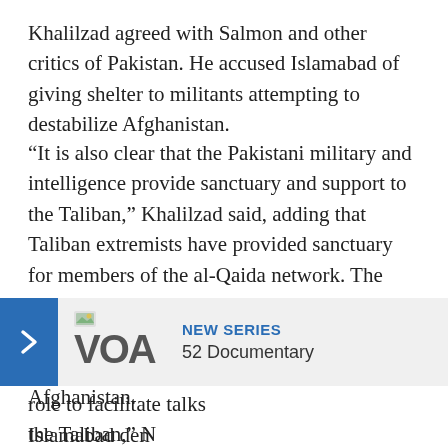Khalilzad agreed with Salmon and other critics of Pakistan. He accused Islamabad of giving shelter to militants attempting to destabilize Afghanistan.
“It is also clear that the Pakistani military and intelligence provide sanctuary and support to the Taliban,” Khalilzad said, adding that Taliban extremists have provided sanctuary for members of the al-Qaida network. The veteran U.S. diplomat noted that al-Qaida leader Ayman al-Zawahiri has pledged allegiance to the new Taliban leader in Afghanistan.
Nazir rejects the notion that Pakistan is not a partner in peace. “Pakistan is trying to play a role to facilitate talks [with] the Taliban,” [Nazir said.]
[Figure (logo): VOA (Voice of America) banner overlay showing arrow button, VOA logo, NEW SERIES label and 52 Documentary text]
Islamabad den[ies...]